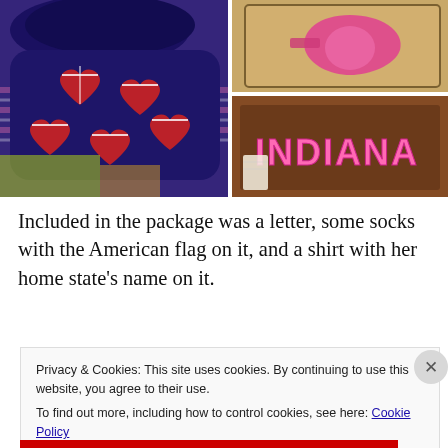[Figure (photo): Photo collage: left side shows navy blue socks with American flag heart patterns on a patterned background; top right shows a guitar-shaped item with pink color on a surface; bottom right shows a dark brown shirt with INDIANA written in large pink block letters with price tags visible]
Included in the package was a letter, some socks with the American flag on it, and a shirt with her home state’s name on it.
Privacy & Cookies: This site uses cookies. By continuing to use this website, you agree to their use.
To find out more, including how to control cookies, see here: Cookie Policy
Close and accept